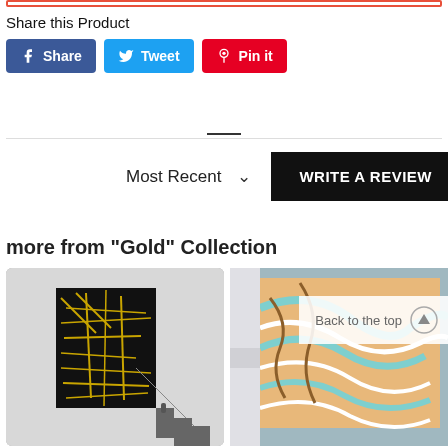Share this Product
Share  Tweet  Pin it
Most Recent  WRITE A REVIEW
more from "Gold" Collection
[Figure (photo): Abstract gold line art on black background mounted on staircase wall]
[Figure (photo): Colorful swirling marble abstract art displayed in modern interior with Back to the top button overlay]